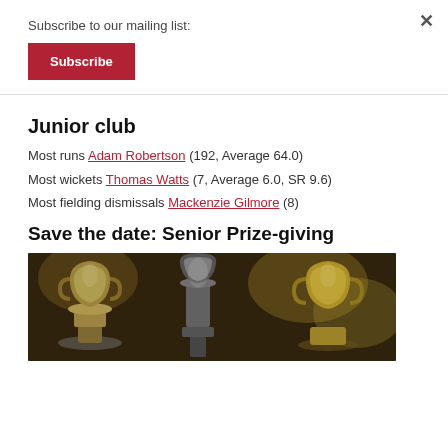×
Subscribe to our mailing list:
Subscribe
Junior club
Most runs Adam Robertson (192, Average 64.0)
Most wickets Thomas Watts (7, Average 6.0, SR 9.6)
Most fielding dismissals Mackenzie Gilmore (8)
Save the date: Senior Prize-giving
[Figure (photo): A collection of silver and gold trophies/cups arranged together]